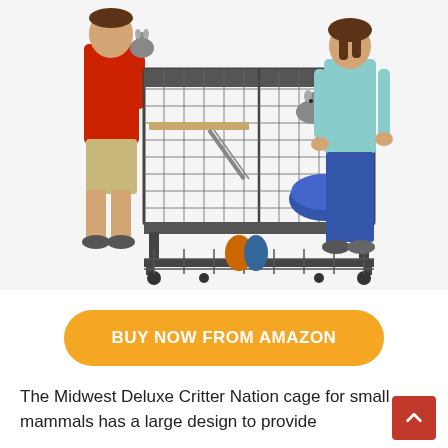[Figure (photo): Two children standing on either side of a large Midwest Deluxe Critter Nation small animal cage on wheels. The boy on the left wears a red shirt and khaki shorts, holding a chinchilla. The girl on the right wears a light blue shirt and jeans. The cage is multi-level with wire mesh, wooden shelves, ramps, and casters. A chinchilla is visible inside the cage on the upper level.]
BUY NOW FROM AMAZON
The Midwest Deluxe Critter Nation cage for small mammals has a large design to provide